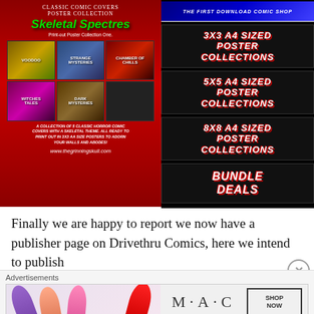[Figure (illustration): Classic Horror Comics Poster Collection advertisement for 'Skeletal Spectres' featuring comic cover images (Voodoo, Strange Mysteries, Chamber of Chills, Witches Tales, Dark Mysteries) on a red background, with right panel showing menu options: 3x3 AA Sized Poster Collections, 5x5 AA Sized Poster Collections, 8x8 AA Sized Poster Collections, Bundle Deals. Website: www.thegrinningskull.com]
Finally we are happy to report we now have a publisher page on Drivethru Comics, here we intend to publish
Advertisements
[Figure (illustration): MAC cosmetics advertisement with lipstick products and SHOP NOW call to action]